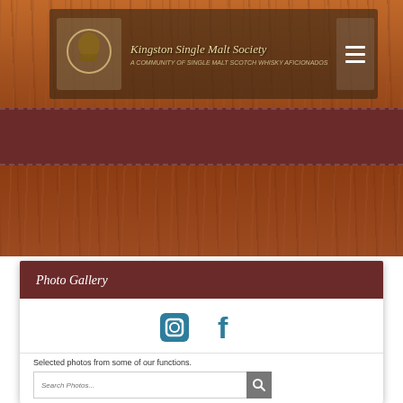[Figure (screenshot): Website header with Kingston Single Malt Society logo and site name on wood-textured background with hamburger menu button]
Photo Gallery
[Figure (infographic): Social media icons: Instagram and Facebook icons in teal color]
Selected photos from some of our functions.
Search Photos...
74 Albums
Recently Added | Most Commented